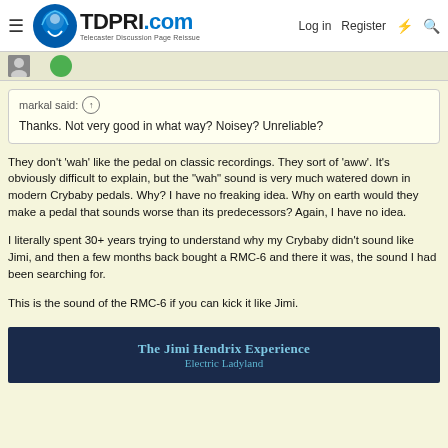TDPRI.com — Telecaster Discussion Page Reissue | Log in | Register
markal said: ↑
Thanks. Not very good in what way? Noisey? Unreliable?
They don't 'wah' like the pedal on classic recordings. They sort of 'aww'. It's obviously difficult to explain, but the "wah" sound is very much watered down in modern Crybaby pedals. Why? I have no freaking idea. Why on earth would they make a pedal that sounds worse than its predecessors? Again, I have no idea.
I literally spent 30+ years trying to understand why my Crybaby didn't sound like Jimi, and then a few months back bought a RMC-6 and there it was, the sound I had been searching for.
This is the sound of the RMC-6 if you can kick it like Jimi.
[Figure (screenshot): Thumbnail showing 'The Jimi Hendrix Experience Electric Ladyland' text on a dark blue background]